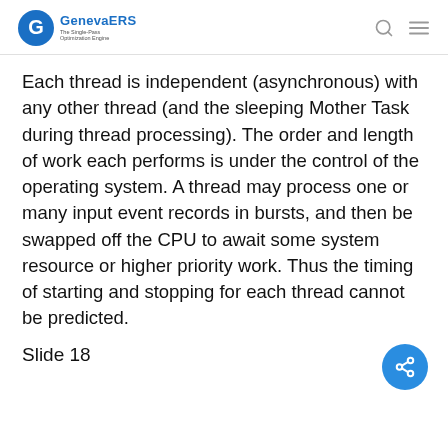GenevaERS - The Single-Pass Optimization Engine
Each thread is independent (asynchronous) with any other thread (and the sleeping Mother Task during thread processing). The order and length of work each performs is under the control of the operating system. A thread may process one or many input event records in bursts, and then be swapped off the CPU to await some system resource or higher priority work. Thus the timing of starting and stopping for each thread cannot be predicted.
Slide 18